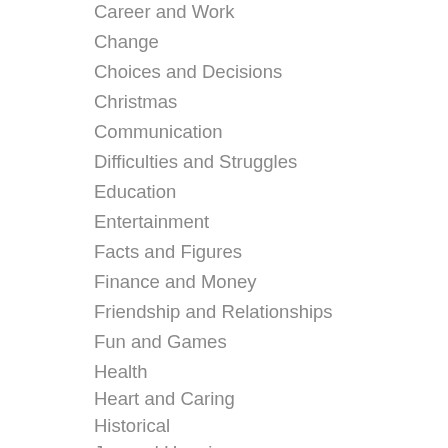Career and Work
Change
Choices and Decisions
Christmas
Communication
Difficulties and Struggles
Education
Entertainment
Facts and Figures
Finance and Money
Friendship and Relationships
Fun and Games
Health
Heart and Caring
Historical
Joy and Happiness